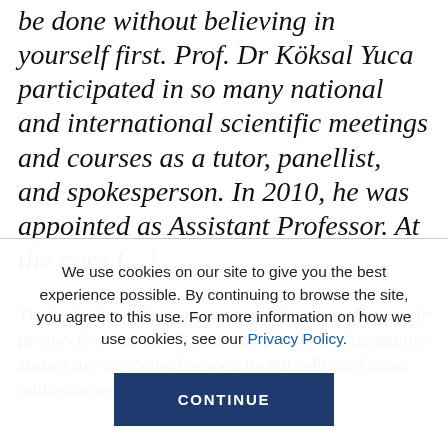be done without believing in yourself first. Prof. Dr Köksal Yuca participated in so many national and international scientific meetings and courses as a tutor, panellist, and spokesperson. In 2010, he was appointed as Assistant Professor. At the core [...]
Thrive invites voices from many spheres to share their perspectives on our Community platform. Community stories are not commissioned by our editorial team, and opinions expressed
We use cookies on our site to give you the best experience possible. By continuing to browse the site, you agree to this use. For more information on how we use cookies, see our Privacy Policy.
CONTINUE